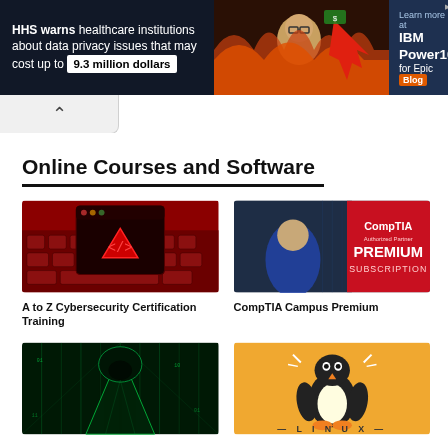[Figure (infographic): Banner advertisement: HHS warns healthcare institutions about data privacy issues that may cost up to 9.3 million dollars. Learn more at IBM Power10 for Epic Blog.]
[Figure (illustration): Navigation chevron/back button bar]
Online Courses and Software
[Figure (photo): A to Z Cybersecurity Certification Training - red keyboard with hacker/code symbol]
A to Z Cybersecurity Certification Training
[Figure (photo): CompTIA Campus Premium - man in blue shirt with CompTIA Premium Subscription overlay]
CompTIA Campus Premium
[Figure (photo): Hacker in hoodie with green digital matrix background]
[Figure (illustration): Linux penguin mascot on orange/yellow background with LINUX text]